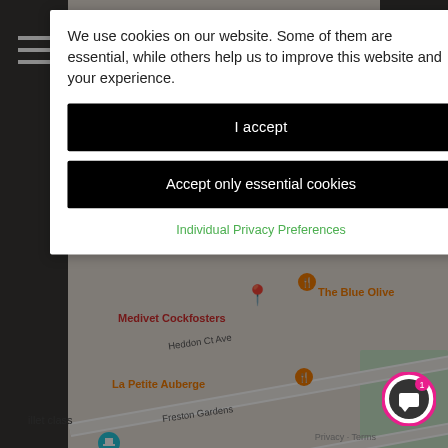[Figure (map): Google Maps screenshot showing Cockfosters area with streets including Heddon Ct Ave, Freston Gardens, Gloucester Gardens, Westpole Ave, Kent Dr, Sussex Way. Map pins for Medivet Cockfosters, The Blue Olive, La Petite Auberge, Remedial Massage Aesthetic Beauty, Liberation Spark Limited. Labels for 'illet class' and 'Southgat'.]
We use cookies on our website. Some of them are essential, while others help us to improve this website and your experience.
I accept
Accept only essential cookies
Individual Privacy Preferences
Privacy · Terms